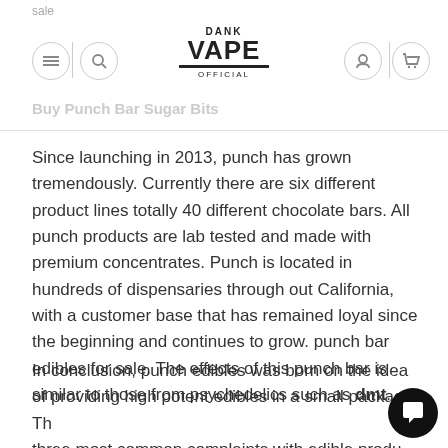sale | Buy Punch Bar Sugar Bi... s | DANK VAPE OFFICIAL
Since launching in 2013, punch has grown tremendously. Currently there are six different product lines totally 40 different chocolate bars. All punch products are lab tested and made with premium concentrates. Punch is located in hundreds of dispensaries through out California, with a customer base that has remained loyal since the beginning and continues to grow. punch bar edibles for sale. The effects of this punch bar is similar to those from psychedelics such as dmt.
In conclusion, punch edibles was born on the idea of providing high potent edibles in a small package. The three most common complaints with edible products are size, taste and potency. As other competitors